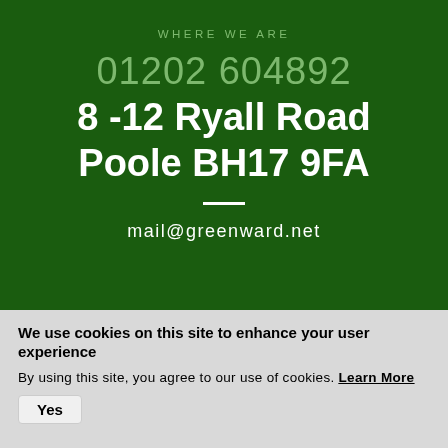WHERE WE ARE
01202 604892
8 -12 Ryall Road
Poole BH17 9FA
mail@greenward.net
We use cookies on this site to enhance your user experience
By using this site, you agree to our use of cookies. Learn More
Yes